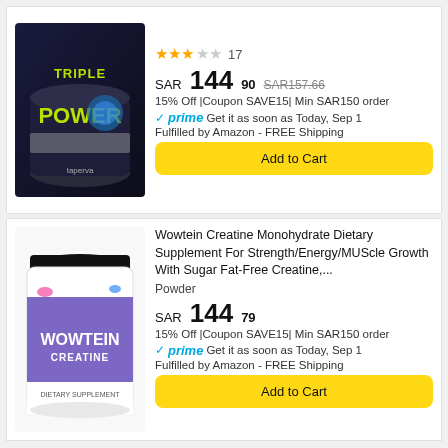[Figure (photo): Triple Power supplement container, dark background with blue and green design]
★★★☆☆ 17
SAR144.90 SAR157.66
15% Off |Coupon SAVE15| Min SAR150 order
✓prime Get it as soon as Today, Sep 1
Fulfilled by Amazon - FREE Shipping
Add to Cart
[Figure (photo): Wowtein Creatine supplement jar with purple and white label]
Wowtein Creatine Monohydrate Dietary Supplement For Strength/Energy/MUScle Growth With Sugar Fat-Free Creatine,...
Powder
SAR144.79
15% Off |Coupon SAVE15| Min SAR150 order
✓prime Get it as soon as Today, Sep 1
Fulfilled by Amazon - FREE Shipping
Add to Cart